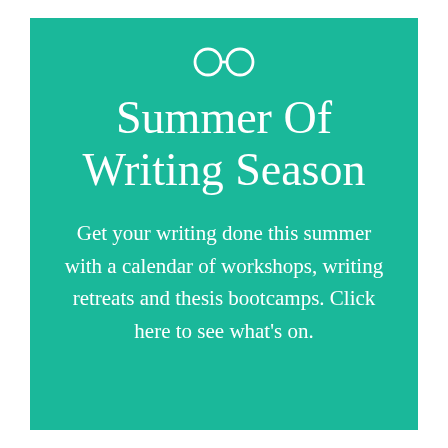[Figure (logo): Glasses icon (two circles outline) in white on teal background]
Summer Of Writing Season
Get your writing done this summer with a calendar of workshops, writing retreats and thesis bootcamps. Click here to see what's on.